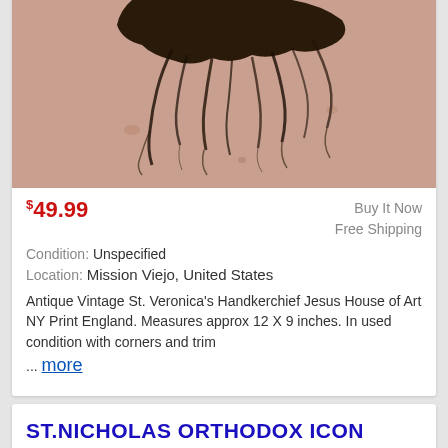[Figure (photo): Close-up photo of dark hair against a skin-toned background, top portion of a product listing image]
$49.99
Buy It Now
Free Shipping
Condition: Unspecified
Location: Mission Viejo, United States
Antique Vintage St. Veronica's Handkerchief Jesus House of Art NY Print England. Measures approx 12 X 9 inches. In used condition with corners and trim ... more
ST.NICHOLAS ORTHODOX ICON PENDANT NECKLACE ЛАДАНКА BLESSING OF POCHAIV LAVRA⛷⛷
[Figure (photo): Bottom portion of a product listing image, dark green/brown background]